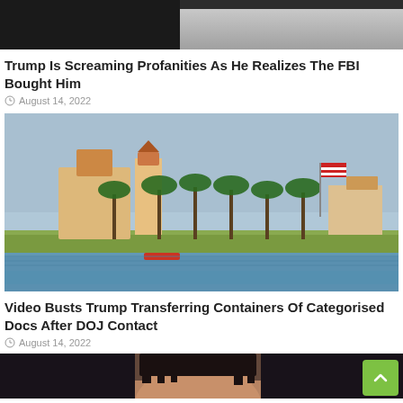[Figure (photo): Partial photo at top showing a person in dark clothing, cut off at the top of the page]
Trump Is Screaming Profanities As He Realizes The FBI Bought Him
August 14, 2022
[Figure (photo): Aerial/waterfront view of Mar-a-Lago estate in Palm Beach, Florida, with palm trees, buildings, an American flag, and water in the foreground]
Video Busts Trump Transferring Containers Of Categorised Docs After DOJ Contact
August 14, 2022
[Figure (photo): Partial photo at bottom showing the top of a person's head with dark hair]